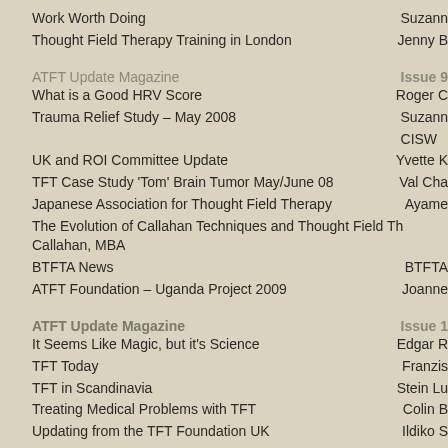Work Worth Doing | Suzann
Thought Field Therapy Training in London | Jenny B
ATFT Update Magazine | Issue 9
What is a Good HRV Score | Roger C
Trauma Relief Study – May 2008 | Suzann CISW
UK and ROI Committee Update | Yvette K
TFT Case Study 'Tom' Brain Tumor May/June 08 | Val Cha
Japanese Association for Thought Field Therapy | Ayame
The Evolution of Callahan Techniques and Thought Field Th... Callahan, MBA
BTFTA News | BTFTA
ATFT Foundation – Uganda Project 2009 | Joanne
ATFT Update Magazine | Issue 1
It Seems Like Magic, but it's Science | Edgar R
TFT Today | Franzis
TFT in Scandinavia | Stein Lu
Treating Medical Problems with TFT | Colin B
Updating from the TFT Foundation UK | Ildiko S